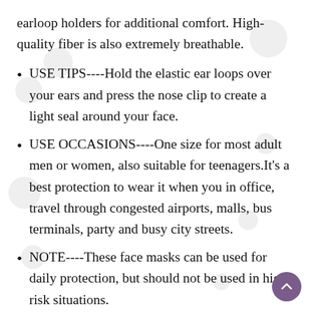earloop holders for additional comfort. High-quality fiber is also extremely breathable.
USE TIPS----Hold the elastic ear loops over your ears and press the nose clip to create a light seal around your face.
USE OCCASIONS----One size for most adult men or women, also suitable for teenagers.It's a best protection to wear it when you in office, travel through congested airports, malls, bus terminals, party and busy city streets.
NOTE----These face masks can be used for daily protection, but should not be used in high risk situations.